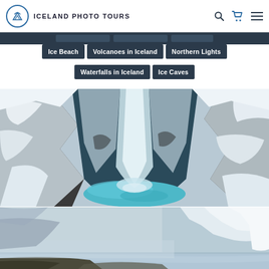Iceland Photo Tours
Ice Beach
Volcanoes in Iceland
Northern Lights
Waterfalls in Iceland
Ice Caves
[Figure (photo): Aerial view of a snow-covered waterfall and blue pool in Iceland in winter]
[Figure (photo): Long-exposure shot of a waterfall in Iceland with silky water effect]